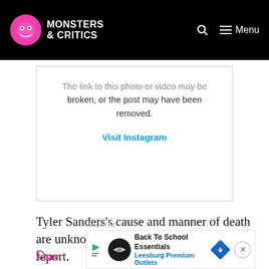MONSTERS & CRITICS
[Figure (screenshot): Instagram embed placeholder showing broken link message and Visit Instagram link]
The link to this photo or video may be broken, or the post may have been removed.
Visit Instagram
Tyler Sanders's cause and manner of death are unknown at the time of writing this report.
[Figure (other): Advertisement banner: Back To School Essentials - Leesburg Premium Outlets]
Report Ad
Leav
Back To School Essentials Leesburg Premium Outlets